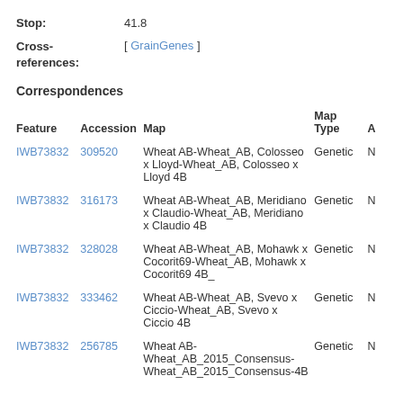Stop: 41.8
Cross-references: [ GrainGenes ]
Correspondences
| Feature | Accession | Map | Map Type | A |
| --- | --- | --- | --- | --- |
| IWB73832 | 309520 | Wheat AB-Wheat_AB, Colosseo x Lloyd-Wheat_AB, Colosseo x Lloyd 4B | Genetic | N |
| IWB73832 | 316173 | Wheat AB-Wheat_AB, Meridiano x Claudio-Wheat_AB, Meridiano x Claudio 4B | Genetic | N |
| IWB73832 | 328028 | Wheat AB-Wheat_AB, Mohawk x Cocorit69-Wheat_AB, Mohawk x Cocorit69 4B_ | Genetic | N |
| IWB73832 | 333462 | Wheat AB-Wheat_AB, Svevo x Ciccio-Wheat_AB, Svevo x Ciccio 4B | Genetic | N |
| IWB73832 | 256785 | Wheat AB-Wheat_AB_2015_Consensus-Wheat_AB_2015_Consensus-4B | Genetic | N |